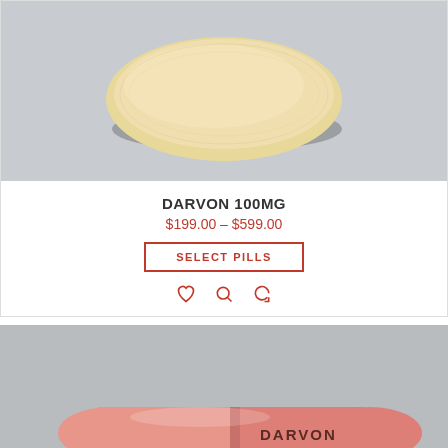[Figure (photo): Oval yellow/cream colored pill tablet on gray background]
DARVON 100MG
$199.00 – $599.00
SELECT PILLS
[Figure (photo): Pink capsule pill labeled DARVON on gray background, with red phone button on left and red up-arrow button on right]